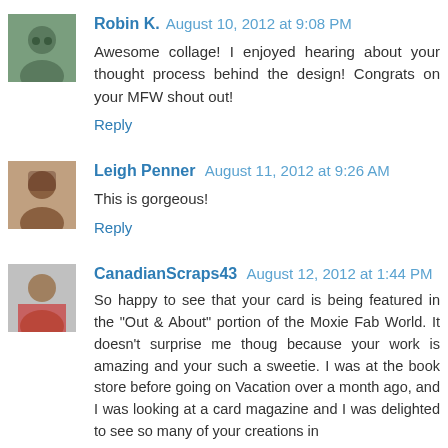Robin K.  August 10, 2012 at 9:08 PM
Awesome collage! I enjoyed hearing about your thought process behind the design! Congrats on your MFW shout out!
Reply
Leigh Penner  August 11, 2012 at 9:26 AM
This is gorgeous!
Reply
CanadianScraps43  August 12, 2012 at 1:44 PM
So happy to see that your card is being featured in the "Out & About" portion of the Moxie Fab World. It doesn't surprise me thoug because your work is amazing and your such a sweetie. I was at the book store before going on Vacation over a month ago, and I was looking at a card magazine and I was delighted to see so many of your creations in